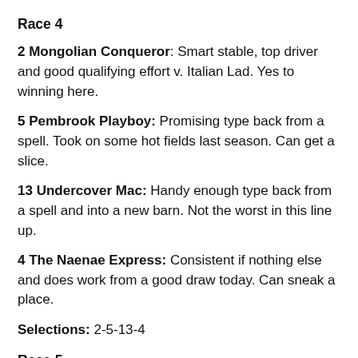Race 4
2 Mongolian Conqueror: Smart stable, top driver and good qualifying effort v. Italian Lad. Yes to winning here.
5 Pembrook Playboy: Promising type back from a spell. Took on some hot fields last season. Can get a slice.
13 Undercover Mac: Handy enough type back from a spell and into a new barn. Not the worst in this line up.
4 The Naenae Express: Consistent if nothing else and does work from a good draw today. Can sneak a place.
Selections: 2-5-13-4
Race 5
5 Robyn's Playboy: Took on the Hannon field and actually wasn't that bad. This is the go though, should win for fun.